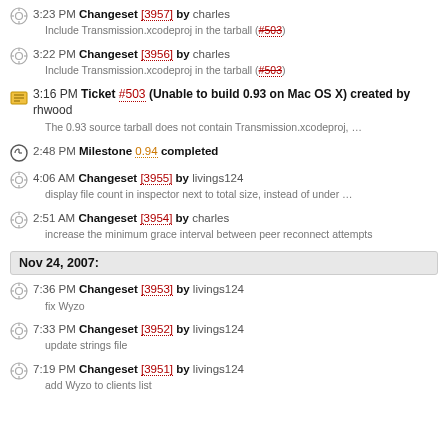3:23 PM Changeset [3957] by charles — Include Transmission.xcodeproj in the tarball (#503)
3:22 PM Changeset [3956] by charles — Include Transmission.xcodeproj in the tarball (#503)
3:16 PM Ticket #503 (Unable to build 0.93 on Mac OS X) created by rhwood — The 0.93 source tarball does not contain Transmission.xcodeproj, ...
2:48 PM Milestone 0.94 completed
4:06 AM Changeset [3955] by livings124 — display file count in inspector next to total size, instead of under ...
2:51 AM Changeset [3954] by charles — increase the minimum grace interval between peer reconnect attempts
Nov 24, 2007:
7:36 PM Changeset [3953] by livings124 — fix Wyzo
7:33 PM Changeset [3952] by livings124 — update strings file
7:19 PM Changeset [3951] by livings124 — add Wyzo to clients list